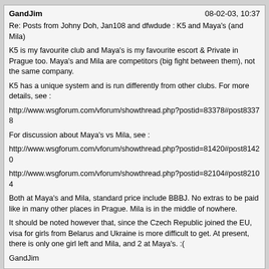GandJim | 08-02-03, 10:37
Re: Posts from Johny Doh, Jan108 and dfwdude : K5 and Maya's (and Mila)

K5 is my favourite club and Maya's is my favourite escort & Private in Prague too. Maya's and Mila are competitors (big fight between them), not the same company.

K5 has a unique system and is run differently from other clubs. For more details, see :

http://www.wsgforum.com/vforum/showthread.php?postid=83378#post83378

For discussion about Maya's vs Mila, see :

http://www.wsgforum.com/vforum/showthread.php?postid=81420#post81420

http://www.wsgforum.com/vforum/showthread.php?postid=82104#post82104

Both at Maya's and Mila, standard price include BBBJ. No extras to be paid like in many other places in Prague. Mila is in the middle of nowhere.

It should be noted however that, since the Czech Republic joined the EU, visa for girls from Belarus and Ukraine is more difficult to get. At present, there is only one girl left and Mila, and 2 at Maya's. :(

GandJim
Latrell2 | 08-02-03, 18:40
@Johny Doh:
You're forgetting to mention that the K5 is more appropriate for the high-budget travellers.

The Entry alone is 500 Ck
Half an hour with a girl costs 2400 Ck.